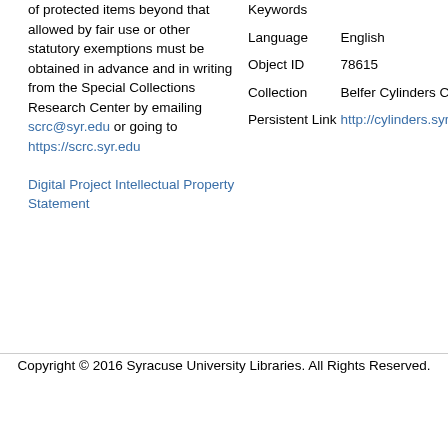of protected items beyond that allowed by fair use or other statutory exemptions must be obtained in advance and in writing from the Special Collections Research Center by emailing scrc@syr.edu or going to https://scrc.syr.edu
Digital Project Intellectual Property Statement
Keywords
Language English
Object ID 78615
Collection Belfer Cylinders Collection
Persistent Link http://cylinders.syr.edu/p/belfer/belfer_cylinders.78615
Copyright © 2016 Syracuse University Libraries. All Rights Reserved.